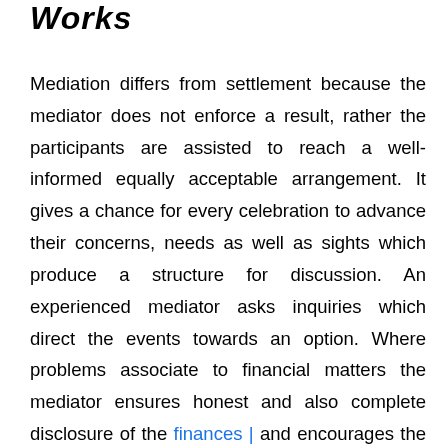Works
Mediation differs from settlement because the mediator does not enforce a result, rather the participants are assisted to reach a well-informed equally acceptable arrangement. It gives a chance for every celebration to advance their concerns, needs as well as sights which produce a structure for discussion. An experienced mediator asks inquiries which direct the events towards an option. Where problems associate to financial matters the mediator ensures honest and also complete disclosure of the finances | and encourages the pair to concentrate